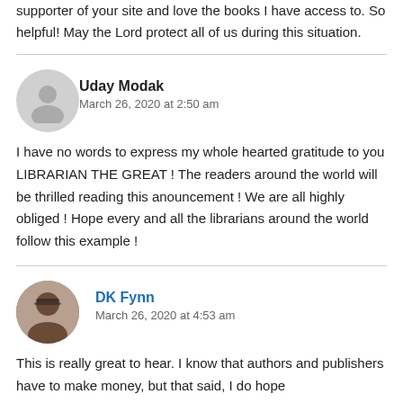supporter of your site and love the books I have access to. So helpful! May the Lord protect all of us during this situation.
Uday Modak
March 26, 2020 at 2:50 am
I have no words to express my whole hearted gratitude to you LIBRARIAN THE GREAT ! The readers around the world will be thrilled reading this anouncement ! We are all highly obliged ! Hope every and all the librarians around the world follow this example !
DK Fynn
March 26, 2020 at 4:53 am
This is really great to hear. I know that authors and publishers have to make money, but that said, I do hope that they can see a way to help make access available...